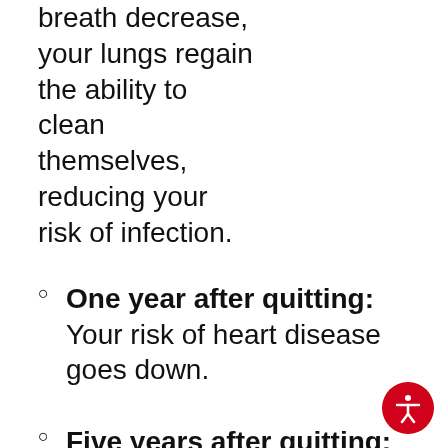breath decrease, your lungs regain the ability to clean themselves, reducing your risk of infection.
One year after quitting: Your risk of heart disease goes down.
Five years after quitting: Your risk of stroke goes down.